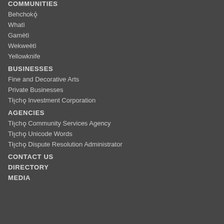COMMUNITIES
Behchokǫ̀
Whatì
Gamètì
Wekweètì
Yellowknife
BUSINESSES
Fine and Decorative Arts
Private Businesses
Tłı̨chǫ Investment Corporation
AGENCIES
Tłı̨chǫ Community Services Agency
Tłı̨chǫ Unicode Words
Tłı̨chǫ Dispute Resolution Administrator
CONTACT US
DIRECTORY
MEDIA